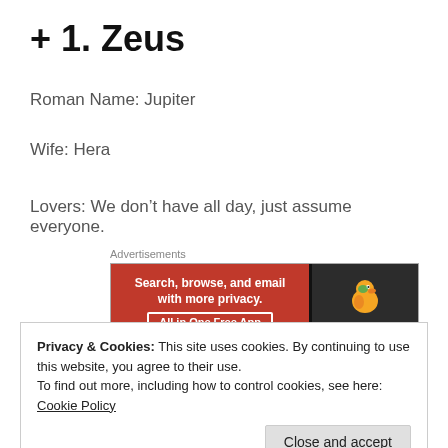+ 1. Zeus
Roman Name: Jupiter
Wife: Hera
Lovers: We don’t have all day, just assume everyone.
[Figure (other): DuckDuckGo advertisement banner: orange left side with text 'Search, browse, and email with more privacy. All in One Free App' and dark right side with DuckDuckGo logo and name.]
Kids: Also, everyone – heck, Zeus slept with so many
Privacy & Cookies: This site uses cookies. By continuing to use this website, you agree to their use.
To find out more, including how to control cookies, see here: Cookie Policy
like a lie without it – but no one quite competes with